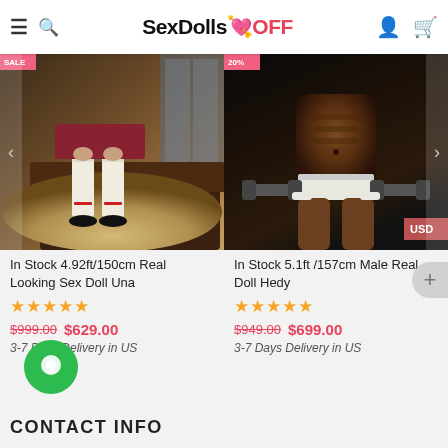SexDolls OFF
[Figure (photo): Product photo of a sex doll seated on a couch wearing white stockings and black shoes, with a fur rug]
In Stock 4.92ft/150cm Real Looking Sex Doll Una
★★★★★
$999.00  $629.00
3-7 Days Delivery in US
[Figure (photo): Product photo of a dark-skinned male sex doll in athletic underwear holding dumbbells]
In Stock 5.1ft /157cm Male Real Doll Hedy
★★★★★
$949.00  $699.00
3-7 Days Delivery in US
[Figure (illustration): Green circular chat bubble / contact button icon]
CONTACT INFO